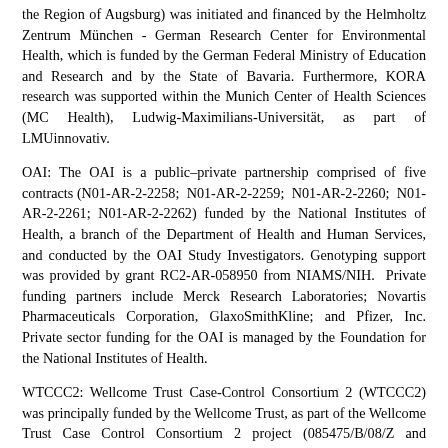the Region of Augsburg) was initiated and financed by the Helmholtz Zentrum München - German Research Center for Environmental Health, which is funded by the German Federal Ministry of Education and Research and by the State of Bavaria. Furthermore, KORA research was supported within the Munich Center of Health Sciences (MC Health), Ludwig-Maximilians-Universität, as part of LMUinnovativ.
OAI: The OAI is a public–private partnership comprised of five contracts (N01-AR-2-2258; N01-AR-2-2259; N01-AR-2-2260; N01-AR-2-2261; N01-AR-2-2262) funded by the National Institutes of Health, a branch of the Department of Health and Human Services, and conducted by the OAI Study Investigators. Genotyping support was provided by grant RC2-AR-058950 from NIAMS/NIH. Private funding partners include Merck Research Laboratories; Novartis Pharmaceuticals Corporation, GlaxoSmithKline; and Pfizer, Inc. Private sector funding for the OAI is managed by the Foundation for the National Institutes of Health.
WTCCC2: Wellcome Trust Case-Control Consortium 2 (WTCCC2) was principally funded by the Wellcome Trust, as part of the Wellcome Trust Case Control Consortium 2 project (085475/B/08/Z and 085475/Z/08/Z and WT084724MA). The Stroke Association provided additional support for collection of some of the St George's, London cases. The Oxford cases were collected as part of the Oxford Vascular Study which is funded by the MRC, Stroke Association, Dunhill Medical Trust, National Institute of Health Research (NIHR) and the NIHR Biomedical Research Centre, Oxford. The Edinburgh Stroke Study was supported by the Wellcome Trust...